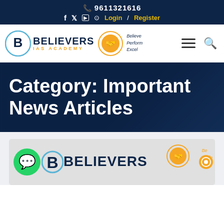9611321616
Login / Register
[Figure (logo): Believers IAS Academy logo with handshake icon and tagline: Believe Perform Excel]
Category: Important News Articles
[Figure (logo): Believers IAS Academy logo card at bottom of page showing WhatsApp icon, Believers text and handshake graphic]